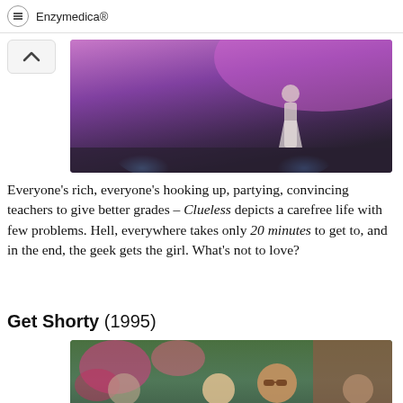Enzymedica®
[Figure (photo): Movie still from Clueless showing a figure on a stage with purple and blue lighting]
Everyone's rich, everyone's hooking up, partying, convincing teachers to give better grades – Clueless depicts a carefree life with few problems. Hell, everywhere takes only 20 minutes to get to, and in the end, the geek gets the girl. What's not to love?
Get Shorty (1995)
[Figure (photo): Movie still from Get Shorty showing a man in sunglasses and black turtleneck at a restaurant table with a woman beside him]
In Got Shorty, any old chum can move into town, drive a